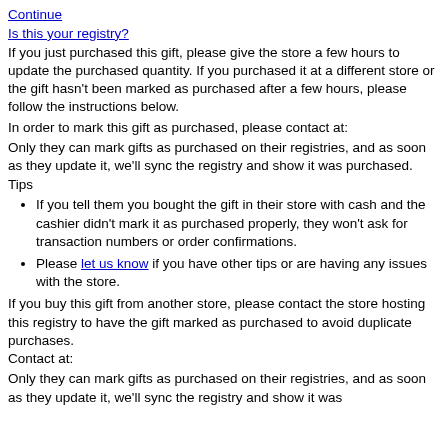Continue
Is this your registry?
If you just purchased this gift, please give the store a few hours to update the purchased quantity. If you purchased it at a different store or the gift hasn't been marked as purchased after a few hours, please follow the instructions below.
In order to mark this gift as purchased, please contact at:
Only they can mark gifts as purchased on their registries, and as soon as they update it, we'll sync the registry and show it was purchased.
Tips
If you tell them you bought the gift in their store with cash and the cashier didn't mark it as purchased properly, they won't ask for transaction numbers or order confirmations.
Please let us know if you have other tips or are having any issues with the store.
If you buy this gift from another store, please contact the store hosting this registry to have the gift marked as purchased to avoid duplicate purchases.
Contact at:
Only they can mark gifts as purchased on their registries, and as soon as they update it, we'll sync the registry and show it was